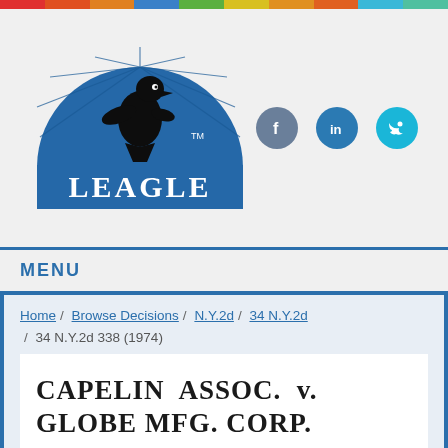[Figure (logo): Leagle.com logo — blue semicircle with eagle silhouette and LEAGLE text in white serif font, with TM mark]
MENU
Home / Browse Decisions / N.Y.2d / 34 N.Y.2d / 34 N.Y.2d 338 (1974)
CAPELIN ASSOC. v. GLOBE MFG. CORP.